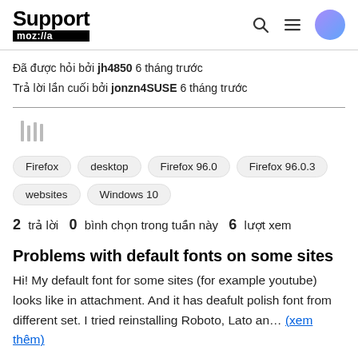Support moz://a
Đã được hỏi bởi jh4850 6 tháng trước
Trả lời lần cuối bởi jonzn4SUSE 6 tháng trước
[Figure (illustration): Library/bookmark icon in light gray]
Firefox
desktop
Firefox 96.0
Firefox 96.0.3
websites
Windows 10
2 trả lời  0 bình chọn trong tuần này  6 lượt xem
Problems with default fonts on some sites
Hi! My default font for some sites (for example youtube) looks like in attachment. And it has deafult polish font from different set. I tried reinstalling Roboto, Lato an... (xem thêm)